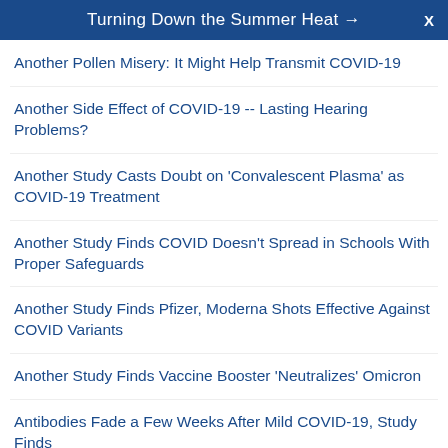Turning Down the Summer Heat → X
Another Pollen Misery: It Might Help Transmit COVID-19
Another Side Effect of COVID-19 -- Lasting Hearing Problems?
Another Study Casts Doubt on 'Convalescent Plasma' as COVID-19 Treatment
Another Study Finds COVID Doesn't Spread in Schools With Proper Safeguards
Another Study Finds Pfizer, Moderna Shots Effective Against COVID Variants
Another Study Finds Vaccine Booster 'Neutralizes' Omicron
Antibodies Fade a Few Weeks After Mild COVID-19, Study Finds
Antibodies to Early Strains of COVID May Not Fight